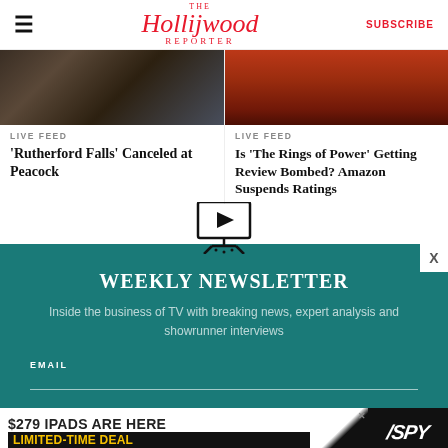The Hollywood Reporter | SUBSCRIBE
[Figure (photo): Dark outdoor scene, two people in coats, article image for Rutherford Falls]
LIVE FEED
'Rutherford Falls' Canceled at Peacock
[Figure (photo): Red/orange tinted image of a horse, article image for Rings of Power]
LIVE FEED
Is 'The Rings of Power' Getting Review Bombed? Amazon Suspends Ratings
[Figure (illustration): Monitor/TV icon with play button on a stand]
WEEKLY NEWSLETTER
Inside the business of TV with breaking news, expert analysis and showrunner interviews
EMAIL
[Figure (infographic): Advertisement banner: $279 IPADS ARE HERE LIMITED-TIME DEAL | SPY logo]